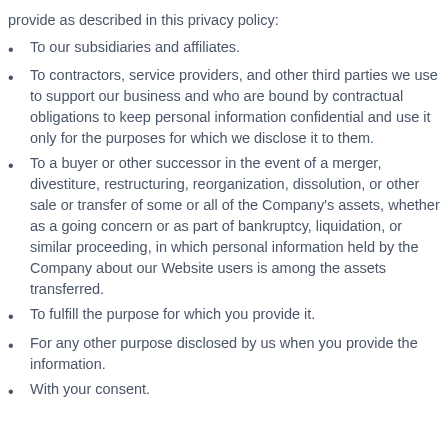provide as described in this privacy policy:
To our subsidiaries and affiliates.
To contractors, service providers, and other third parties we use to support our business and who are bound by contractual obligations to keep personal information confidential and use it only for the purposes for which we disclose it to them.
To a buyer or other successor in the event of a merger, divestiture, restructuring, reorganization, dissolution, or other sale or transfer of some or all of the Company's assets, whether as a going concern or as part of bankruptcy, liquidation, or similar proceeding, in which personal information held by the Company about our Website users is among the assets transferred.
To fulfill the purpose for which you provide it.
For any other purpose disclosed by us when you provide the information.
With your consent.